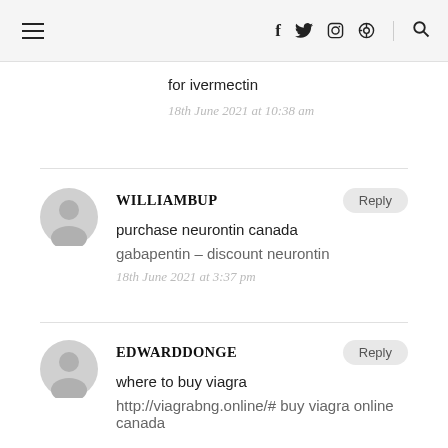Navigation bar with hamburger menu, social icons (f, twitter, instagram, pinterest), and search icon
for ivermectin
18th June 2021 at 10:38 am
WILLIAMBUP — Reply
purchase neurontin canada
gabapentin – discount neurontin
18th June 2021 at 3:37 pm
EDWARDDONGE — Reply
where to buy viagra
http://viagrabng.online/# buy viagra online canada